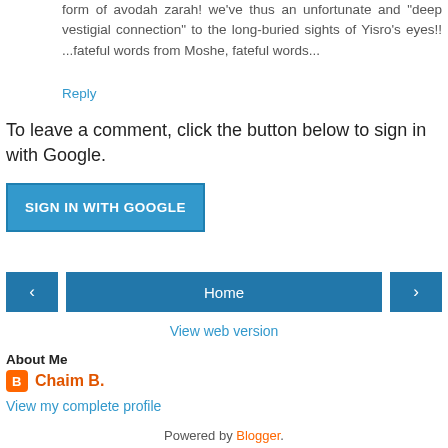form of avodah zarah! we've thus an unfortunate and "deep vestigial connection" to the long-buried sights of Yisro's eyes!! ...fateful words from Moshe, fateful words...
Reply
To leave a comment, click the button below to sign in with Google.
[Figure (other): SIGN IN WITH GOOGLE button, blue background with white text]
[Figure (other): Navigation bar with left arrow, Home button, and right arrow, all in teal/blue]
View web version
About Me
Chaim B.
View my complete profile
Powered by Blogger.